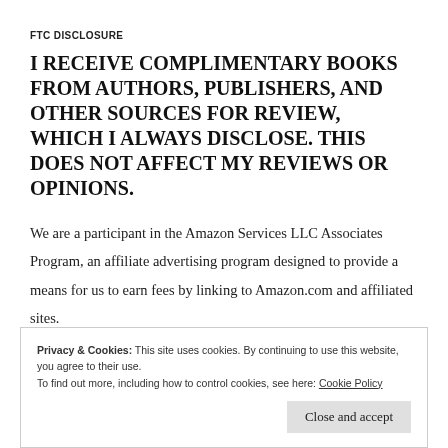FTC DISCLOSURE
I RECEIVE COMPLIMENTARY BOOKS FROM AUTHORS, PUBLISHERS, AND OTHER SOURCES FOR REVIEW, WHICH I ALWAYS DISCLOSE. THIS DOES NOT AFFECT MY REVIEWS OR OPINIONS.
We are a participant in the Amazon Services LLC Associates Program, an affiliate advertising program designed to provide a means for us to earn fees by linking to Amazon.com and affiliated sites.
Privacy & Cookies: This site uses cookies. By continuing to use this website, you agree to their use.
To find out more, including how to control cookies, see here: Cookie Policy
Close and accept